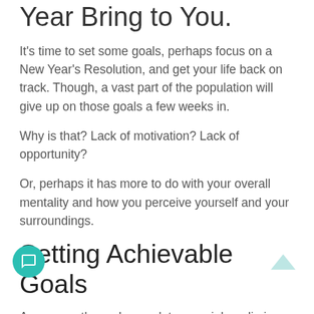Year Bring to You.
It's time to set some goals, perhaps focus on a New Year's Resolution, and get your life back on track. Though, a vast part of the population will give up on those goals a few weeks in.
Why is that? Lack of motivation? Lack of opportunity?
Or, perhaps it has more to do with your overall mentality and how you perceive yourself and your surroundings.
Setting Achievable Goals
A common theme I see a lot on social media is setting up goals over which you have no control.
For example, do you want to get more subscribers